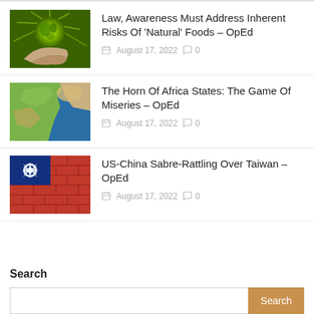[Figure (photo): Glowing green Earth held in a hand against green starburst background]
Law, Awareness Must Address Inherent Risks Of ‘Natural’ Foods – OpEd
August 17, 2022  0
[Figure (photo): Satellite/aerial view of the Horn of Africa region]
The Horn Of Africa States: The Game Of Miseries – OpEd
August 17, 2022  0
[Figure (photo): Taiwan flag painted on brick wall]
US-China Sabre-Rattling Over Taiwan – OpEd
August 17, 2022  0
Search